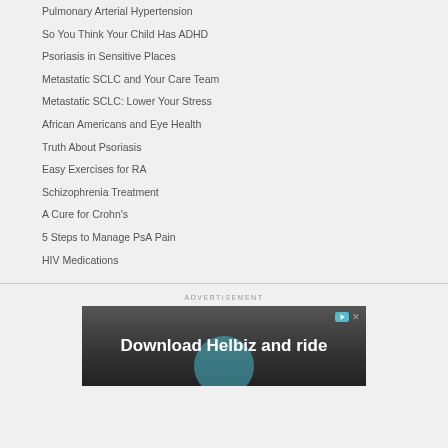Pulmonary Arterial Hypertension
So You Think Your Child Has ADHD
Psoriasis in Sensitive Places
Metastatic SCLC and Your Care Team
Metastatic SCLC: Lower Your Stress
African Americans and Eye Health
Truth About Psoriasis
Easy Exercises for RA
Schizophrenia Treatment
A Cure for Crohn's
5 Steps to Manage PsA Pain
HIV Medications
ADVERTISEMENT
[Figure (screenshot): Advertisement banner for 'Download Helbiz and ride' showing a scooter handlebar image with play and close controls]